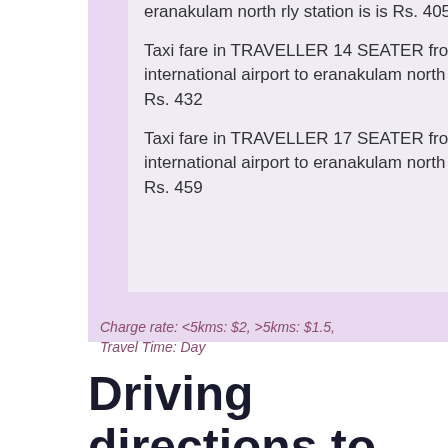eranakulam north rly station is is Rs. 405
Taxi fare in TRAVELLER 14 SEATER from cochin international airport to eranakulam north rly station is is Rs. 432
Taxi fare in TRAVELLER 17 SEATER from cochin international airport to eranakulam north rly station is is Rs. 459
Charge rate: <5kms: $2, >5kms: $1.5, Travel Time: Day
Driving directions to